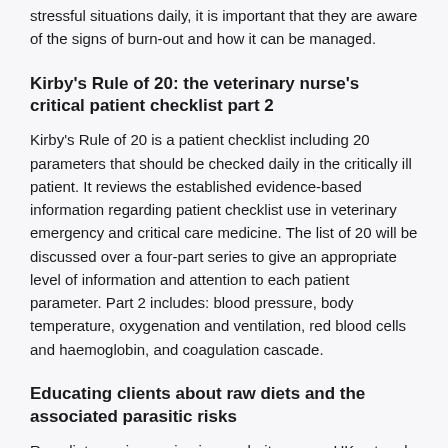stressful situations daily, it is important that they are aware of the signs of burn-out and how it can be managed.
Kirby's Rule of 20: the veterinary nurse's critical patient checklist part 2
Kirby's Rule of 20 is a patient checklist including 20 parameters that should be checked daily in the critically ill patient. It reviews the established evidence-based information regarding patient checklist use in veterinary emergency and critical care medicine. The list of 20 will be discussed over a four-part series to give an appropriate level of information and attention to each patient parameter. Part 2 includes: blood pressure, body temperature, oxygenation and ventilation, red blood cells and haemoglobin, and coagulation cascade.
Educating clients about raw diets and the associated parasitic risks
Raw diets are increasing in popularity among UK cat and dog owners with a trend towards home prepped rather than processed formulations. This potentially exposes household pets to parasitic infections which